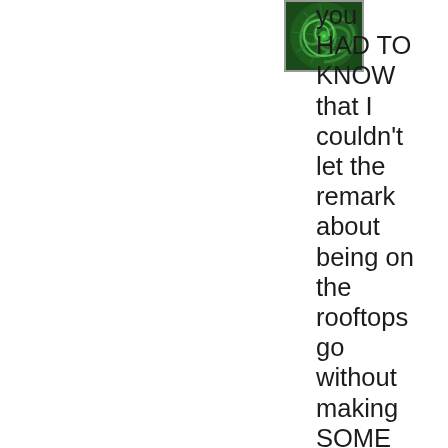[Figure (illustration): Small square thumbnail image showing a green swirling/spiral fractal pattern on a dark green background.]
you HAD TO KNOW that I couldn't let the remark about being on the rooftops go without making SOME comment
So, as not to disappoint you (and to hope you